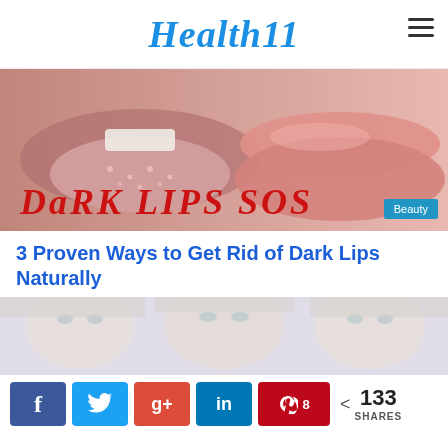Health11
[Figure (photo): Close-up of two sets of lips side by side — left showing dark lips covered in glitter/sugar texture, right showing natural pink lips. Text overlay reads 'DARK LIPS SOS' in red grunge font. Blue 'Beauty' badge in bottom right corner.]
3 Proven Ways to Get Rid of Dark Lips Naturally
[Figure (photo): Close-up of three women's faces showing their eyes, light skin and blonde hair, faded/washed out appearance.]
< 133 SHARES (social share bar with Facebook, Twitter, Google+, LinkedIn, Pinterest with 8 pins)